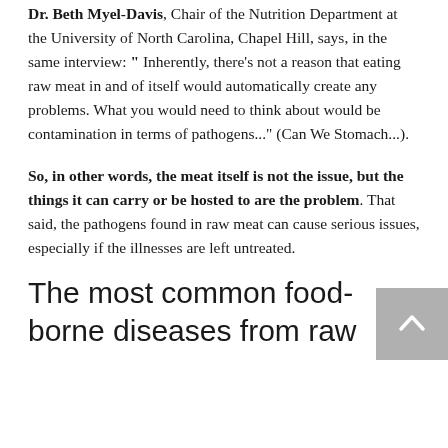Dr. Beth Myer-Davis, Chair of the Nutrition Department at the University of North Carolina, Chapel Hill, says, in the same interview: " Inherently, there's not a reason that eating raw meat in and of itself would automatically create any problems. What you would need to think about would be contamination in terms of pathogens..." (Can We Stomach...).
So, in other words, the meat itself is not the issue, but the things it can carry or be hosted to are the problem. That said, the pathogens found in raw meat can cause serious issues, especially if the illnesses are left untreated.
The most common food-borne diseases from raw